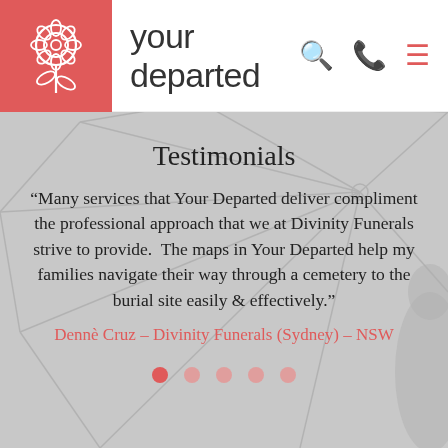your departed
Testimonials
“Many services that Your Departed deliver compliment the professional approach that we at Divinity Funerals strive to provide.  The maps in Your Departed help my families navigate their way through a cemetery to the burial site easily & effectively.”
Dennè Cruz – Divinity Funerals (Sydney) – NSW